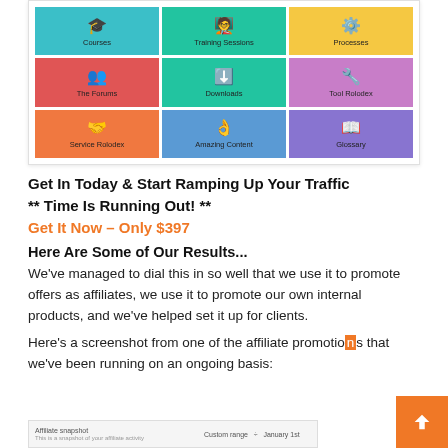[Figure (screenshot): 3x3 grid of colored icon tiles: Courses (teal), Training Sessions (green), Processes (yellow), The Forums (red), Downloads (teal-green), Tool Rolodex (purple), Service Rolodex (orange), Amazing Content (blue), Glossary (purple)]
Get In Today & Start Ramping Up Your Traffic
** Time Is Running Out! **
Get It Now – Only $397
Here Are Some of Our Results...
We've managed to dial this in so well that we use it to promote offers as affiliates, we use it to promote our own internal products, and we've helped set it up for clients.
Here's a screenshot from one of the affiliate promotions that we've been running on an ongoing basis:
[Figure (screenshot): Affiliate snapshot screenshot preview with Custom range and January 1st visible]